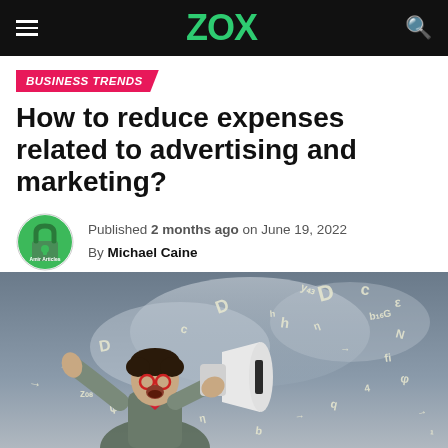ZOX
BUSINESS TRENDS
How to reduce expenses related to advertising and marketing?
Published 2 months ago on June 19, 2022
By Michael Caine
[Figure (photo): Person yelling into a megaphone surrounded by floating letters and numbers]